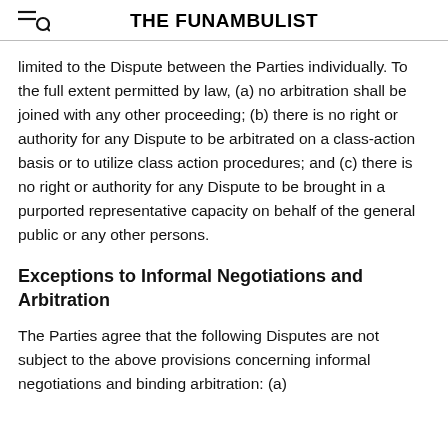THE FUNAMBULIST
limited to the Dispute between the Parties individually. To the full extent permitted by law, (a) no arbitration shall be joined with any other proceeding; (b) there is no right or authority for any Dispute to be arbitrated on a class-action basis or to utilize class action procedures; and (c) there is no right or authority for any Dispute to be brought in a purported representative capacity on behalf of the general public or any other persons.
Exceptions to Informal Negotiations and Arbitration
The Parties agree that the following Disputes are not subject to the above provisions concerning informal negotiations and binding arbitration: (a)